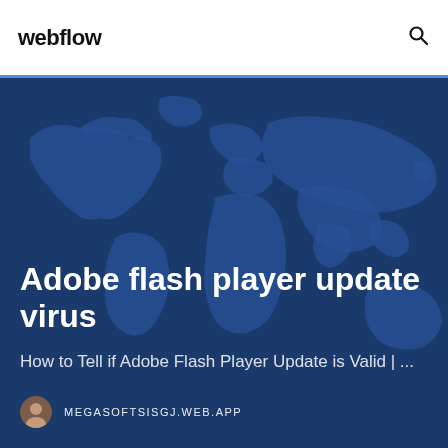webflow
Adobe flash player update virus
How to Tell if Adobe Flash Player Update is Valid | ...
MEGASOFTSISGJ.WEB.APP